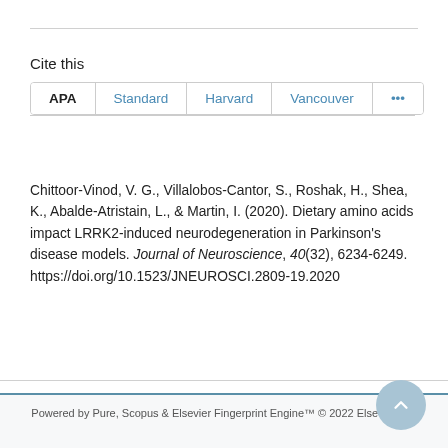Cite this
APA | Standard | Harvard | Vancouver | ...
Chittoor-Vinod, V. G., Villalobos-Cantor, S., Roshak, H., Shea, K., Abalde-Atristain, L., & Martin, I. (2020). Dietary amino acids impact LRRK2-induced neurodegeneration in Parkinson's disease models. Journal of Neuroscience, 40(32), 6234-6249. https://doi.org/10.1523/JNEUROSCI.2809-19.2020
Powered by Pure, Scopus & Elsevier Fingerprint Engine™ © 2022 Elsevier B.V